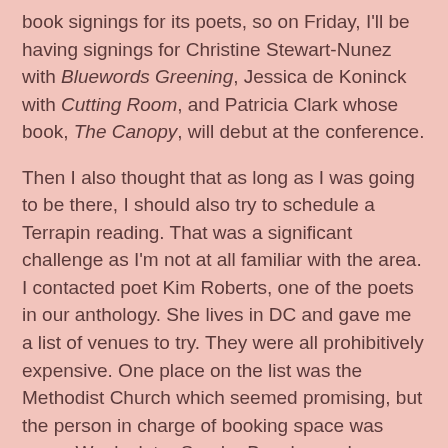book signings for its poets, so on Friday, I'll be having signings for Christine Stewart-Nunez with Bluewords Greening, Jessica de Koninck with Cutting Room, and Patricia Clark whose book, The Canopy, will debut at the conference.
Then I also thought that as long as I was going to be there, I should also try to schedule a Terrapin reading. That was a significant challenge as I'm not at all familiar with the area. I contacted poet Kim Roberts, one of the poets in our anthology. She lives in DC and gave me a list of venues to try. They were all prohibitively expensive. One place on the list was the Methodist Church which seemed promising, but the person in charge of booking space was away. Weeks later Sandra Beasley and some other poets sent out a list of venues. I saw the Methodist Church listed so decided to try again. This time I got hold of the person in charge and was happy to learn that they had space and it wouldn't put me in debtors' prison.
So there will be a Terrapin Books reading on Thursday, 7:00 - 9:00 PM. The reading will include Christine Stewart-Nunez